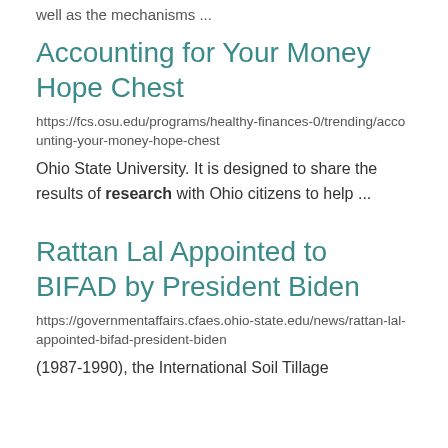well as the mechanisms ...
Accounting for Your Money Hope Chest
https://fcs.osu.edu/programs/healthy-finances-0/trending/accounting-your-money-hope-chest
Ohio State University. It is designed to share the results of research with Ohio citizens to help ...
Rattan Lal Appointed to BIFAD by President Biden
https://governmentaffairs.cfaes.ohio-state.edu/news/rattan-lal-appointed-bifad-president-biden
(1987-1990), the International Soil Tillage